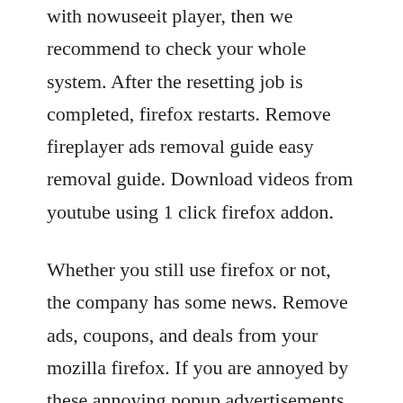with nowuseeit player, then we recommend to check your whole system. After the resetting job is completed, firefox restarts. Remove fireplayer ads removal guide easy removal guide. Download videos from youtube using 1 click firefox addon.
Whether you still use firefox or not, the company has some news. Remove ads, coupons, and deals from your mozilla firefox. If you are annoyed by these annoying popup advertisements but dont know how to remove them, follow the guide below and you will